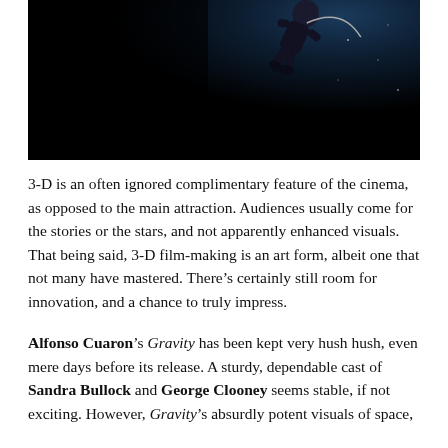[Figure (photo): A dark movie poster or film still showing an astronaut floating in space against a dark background with stars/light in the upper right corner. The image is predominantly very dark/black on the left and deep blue-black on the right.]
3-D is an often ignored complimentary feature of the cinema, as opposed to the main attraction. Audiences usually come for the stories or the stars, and not apparently enhanced visuals. That being said, 3-D film-making is an art form, albeit one that not many have mastered. There's certainly still room for innovation, and a chance to truly impress.
Alfonso Cuaron's Gravity has been kept very hush hush, even mere days before its release. A sturdy, dependable cast of Sandra Bullock and George Clooney seems stable, if not exciting. However, Gravity's absurdly potent visuals of space,